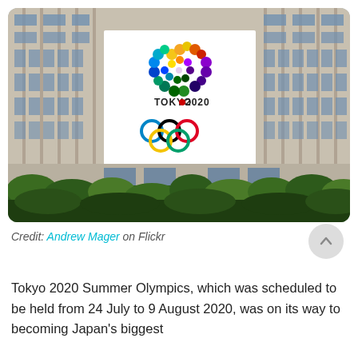[Figure (photo): Photo of a large Tokyo 2020 Olympics banner/logo displayed on the facade of a tall stone building. The banner shows colorful floral/cherry blossom design arranged in a circle, the text 'TOKYO 2020' with a red dot, and the Olympic rings below. The lower portion of the building is fronted by green hedges/shrubs.]
Credit: Andrew Mager on Flickr
Tokyo 2020 Summer Olympics, which was scheduled to be held from 24 July to 9 August 2020, was on its way to becoming Japan's biggest